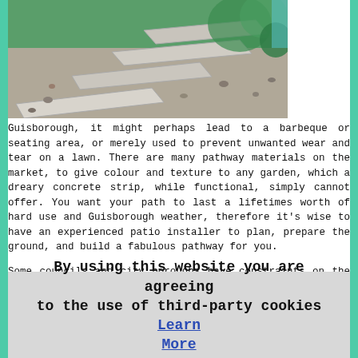[Figure (photo): Photograph of stone/concrete stepping stones arranged as a garden pathway, surrounded by gravel and greenery]
Guisborough, it might perhaps lead to a barbeque or seating area, or merely used to prevent unwanted wear and tear on a lawn. There are many pathway materials on the market, to give colour and texture to any garden, which a dreary concrete strip, while functional, simply cannot offer. You want your path to last a lifetimes worth of hard use and Guisborough weather, therefore it's wise to have an experienced patio installer to plan, prepare the ground, and build a fabulous pathway for you.
Some councils and city boroughs have constraints on the types of materials that new walkways can be built from. Brand new hard surfaces might be required to have a measure of permeability, e.g. they must allow a certain percentage surface water to soak through, rather than run-off into the main drains. A reliable patio specialist will be able to provide you with options to accomplish this which abide by all local regulations, and look fabulous too.
Whatever your style of property and garden, a specialist
By using this website you are agreeing to the use of third-party cookies Learn More  OK